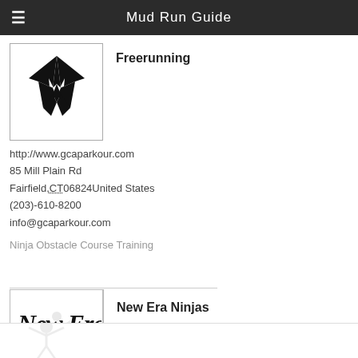Mud Run Guide
[Figure (logo): Black stylized figure/wing logo for GCA Parkour / Freerunning]
Freerunning
http://www.gcaparkour.com
85 Mill Plain Rd
Fairfield, CT 06824 United States
(203)-610-8200
info@gcaparkour.com
Ninja Obstacle Course Training
[Figure (logo): New Era Ninjas logo with faded figure hanging from bar]
New Era Ninjas